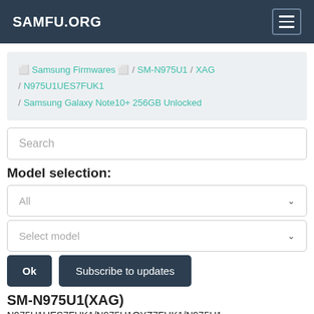SAMFU.ORG
🏠 Samsung Firmwares 🏠 / SM-N975U1 / XAG / N975U1UES7FUK1 / Samsung Galaxy Note10+ 256GB Unlocked
Search
Model selection:
All
Select model
Ok   Subscribe to updates
SM-N975U1(XAG)
N975U1UES7FUK1/N975U1OYZ7FUK1/N975U1...